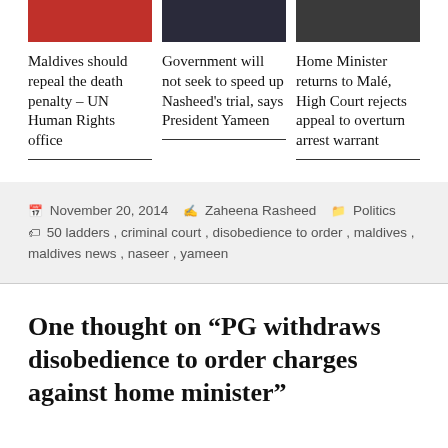[Figure (photo): Red/orange toned photo (partial, top cropped)]
[Figure (photo): Dark toned photo of a person (partial, top cropped)]
[Figure (photo): Dark toned photo (partial, top cropped)]
Maldives should repeal the death penalty – UN Human Rights office
Government will not seek to speed up Nasheed's trial, says President Yameen
Home Minister returns to Malé, High Court rejects appeal to overturn arrest warrant
November 20, 2014  Zaheena Rasheed  Politics  50 ladders , criminal court , disobedience to order , maldives , maldives news , naseer , yameen
One thought on “PG withdraws disobedience to order charges against home minister”